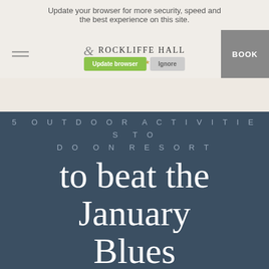Update your browser for more security, speed and the best experience on this site.
[Figure (screenshot): Navigation bar of Rockliffe Hall website with hamburger menu, Rockliffe Hall logo with 5 stars, and BOOK button. An 'Update browser' and 'Ignore' button overlay is visible.]
5 OUTDOOR ACTIVITIES TO DO ON RESORT to beat the January Blues